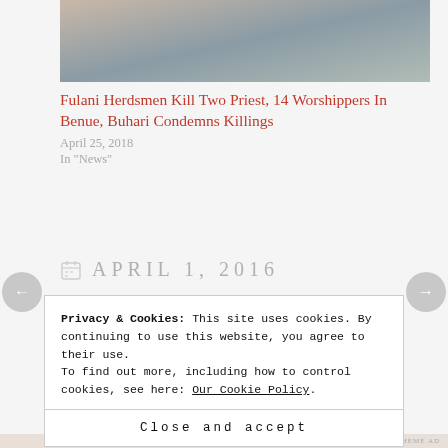[Figure (photo): Photograph showing people outdoors, appearing to be a news story image related to Fulani herdsmen attack]
Fulani Herdsmen Kill Two Priest, 14 Worshippers In Benue, Buhari Condemns Killings
April 25, 2018
In "News"
APRIL 1, 2016
Privacy & Cookies: This site uses cookies. By continuing to use this website, you agree to their use.
To find out more, including how to control cookies, see here: Our Cookie Policy
Close and accept